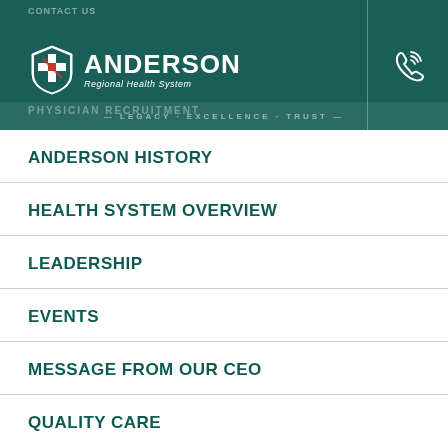[Figure (logo): Anderson Regional Health System logo banner with teal background, shield logo with cross, phone icon, tagline LEGACY EXCELLENCE TRUST, and PHYSICIAN RECRUITMENT text]
ANDERSON HISTORY
HEALTH SYSTEM OVERVIEW
LEADERSHIP
EVENTS
MESSAGE FROM OUR CEO
QUALITY CARE